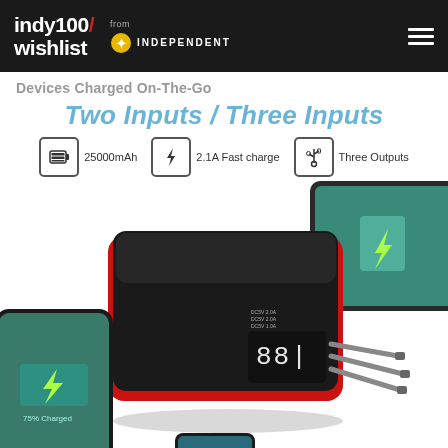indy100/ wishlist from INDEPENDENT
Devices Charged On-The-Go
Two Inputs / Three Inputs
25000mAh   2.1A Fast charge   Three Outputs
[Figure (photo): Product photo of a black and red 25000mAh power bank with LED display and three USB output cables, surrounded by a smartphone on the lower left showing charging and a tablet on the upper right showing charging, and a partial phone at the bottom center.]